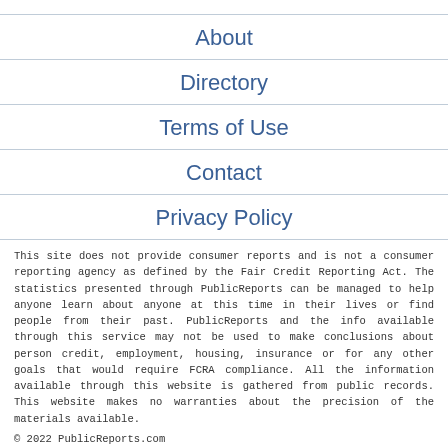About
Directory
Terms of Use
Contact
Privacy Policy
This site does not provide consumer reports and is not a consumer reporting agency as defined by the Fair Credit Reporting Act. The statistics presented through PublicReports can be managed to help anyone learn about anyone at this time in their lives or find people from their past. PublicReports and the info available through this service may not be used to make conclusions about person credit, employment, housing, insurance or for any other goals that would require FCRA compliance. All the information available through this website is gathered from public records. This website makes no warranties about the precision of the materials available.
© 2022 PublicReports.com